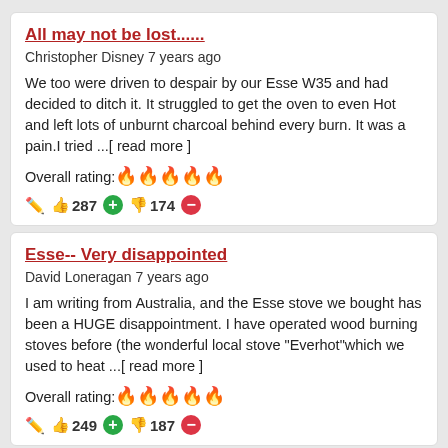All may not be lost......
Christopher Disney 7 years ago
We too were driven to despair by our Esse W35 and had decided to ditch it. It struggled to get the oven to even Hot and left lots of unburnt charcoal behind every burn. It was a pain.I tried ...[ read more ]
Overall rating: 4/5 flames
287 thumbs up, 174 thumbs down
Esse-- Very disappointed
David Loneragan 7 years ago
I am writing from Australia, and the Esse stove we bought has been a HUGE disappointment. I have operated wood burning stoves before (the wonderful local stove "Everhot"which we used to heat ...[ read more ]
Overall rating: 2/5 flames
249 thumbs up, 187 thumbs down
Disappointed in France